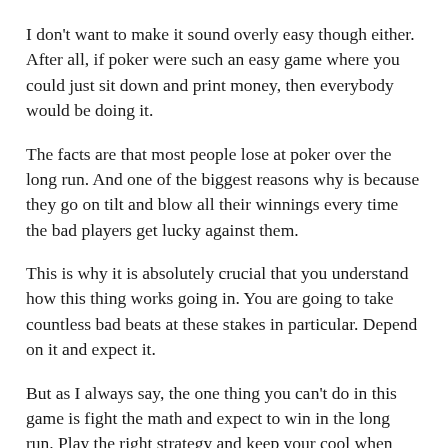I don't want to make it sound overly easy though either. After all, if poker were such an easy game where you could just sit down and print money, then everybody would be doing it.
The facts are that most people lose at poker over the long run. And one of the biggest reasons why is because they go on tilt and blow all their winnings every time the bad players get lucky against them.
This is why it is absolutely crucial that you understand how this thing works going in. You are going to take countless bad beats at these stakes in particular. Depend on it and expect it.
But as I always say, the one thing you can't do in this game is fight the math and expect to win in the long run. Play the right strategy and keep your cool when they get lucky, and you will win when it matters.
Lastly, if you want to know how to consistently make $1000+ per month in low stakes poker games, make sure you grab a copy of my free poker cheat sheet.